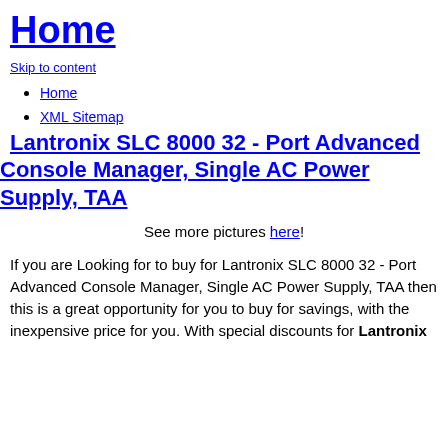Home
Skip to content
Home
XML Sitemap
Lantronix SLC 8000 32 - Port Advanced Console Manager, Single AC Power Supply, TAA
See more pictures here!
If you are Looking for to buy for Lantronix SLC 8000 32 - Port Advanced Console Manager, Single AC Power Supply, TAA then this is a great opportunity for you to buy for savings, with the inexpensive price for you. With special discounts for Lantronix